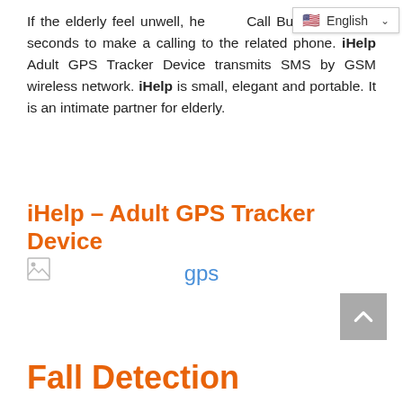If the elderly feel unwell, he[ld the] Call Button for three seconds to make a calling to the related phone. iHelp Adult GPS Tracker Device transmits SMS by GSM wireless network. iHelp is small, elegant and portable. It is an intimate partner for elderly.
iHelp – Adult GPS Tracker Device
[Figure (other): Broken image placeholder icon for GPS tracker device image, with alt text 'gps' displayed in blue]
Fall Detection